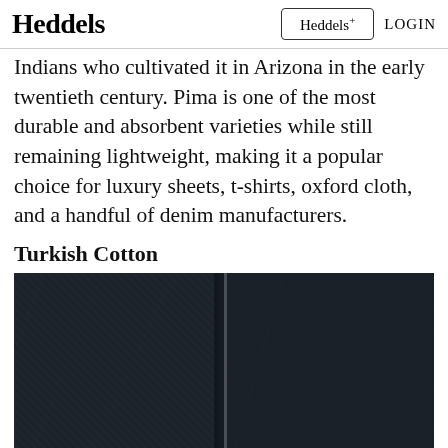Heddels   Heddels+   LOGIN
Indians who cultivated it in Arizona in the early twentieth century. Pima is one of the most durable and absorbent varieties while still remaining lightweight, making it a popular choice for luxury sheets, t-shirts, oxford cloth, and a handful of denim manufacturers.
Turkish Cotton
[Figure (photo): Close-up photograph of dark navy/black denim fabric showing texture and a vertical seam running down the center]